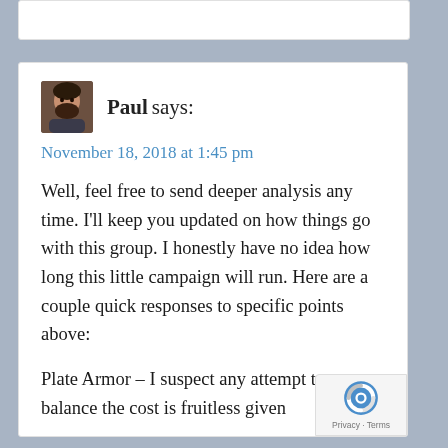Paul says:
November 18, 2018 at 1:45 pm
Well, feel free to send deeper analysis any time. I'll keep you updated on how things go with this group. I honestly have no idea how long this little campaign will run. Here are a couple quick responses to specific points above:
Plate Armor – I suspect any attempt to balance the cost is fruitless given